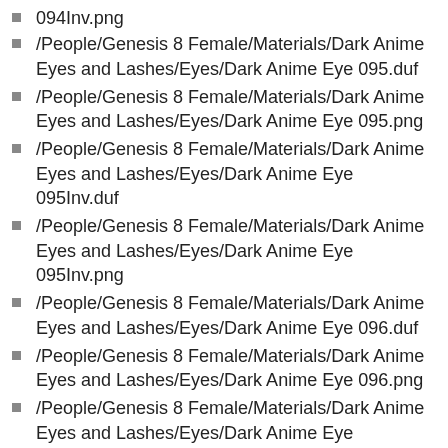094Inv.png
/People/Genesis 8 Female/Materials/Dark Anime Eyes and Lashes/Eyes/Dark Anime Eye 095.duf
/People/Genesis 8 Female/Materials/Dark Anime Eyes and Lashes/Eyes/Dark Anime Eye 095.png
/People/Genesis 8 Female/Materials/Dark Anime Eyes and Lashes/Eyes/Dark Anime Eye 095Inv.duf
/People/Genesis 8 Female/Materials/Dark Anime Eyes and Lashes/Eyes/Dark Anime Eye 095Inv.png
/People/Genesis 8 Female/Materials/Dark Anime Eyes and Lashes/Eyes/Dark Anime Eye 096.duf
/People/Genesis 8 Female/Materials/Dark Anime Eyes and Lashes/Eyes/Dark Anime Eye 096.png
/People/Genesis 8 Female/Materials/Dark Anime Eyes and Lashes/Eyes/Dark Anime Eye (partial, cut off)